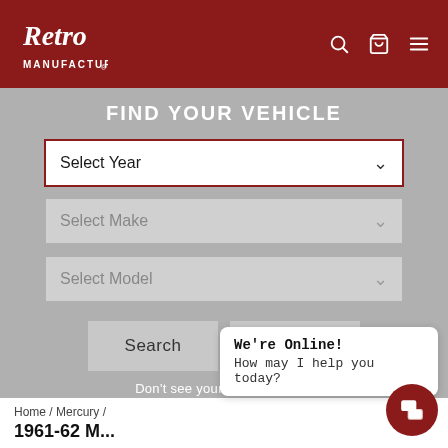[Figure (logo): Retro Manufacturing cursive logo in white on dark red header background]
FIND YOUR VEHICLE
[Figure (screenshot): Select Year dropdown with dark red border, active/focused state]
[Figure (screenshot): Select Make dropdown, greyed out/disabled state]
[Figure (screenshot): Select Model dropdown, greyed out/disabled state]
Search   Reset
Don't see your vehicle listed?
Home / Mercury /
We're Online! How may I help you today?